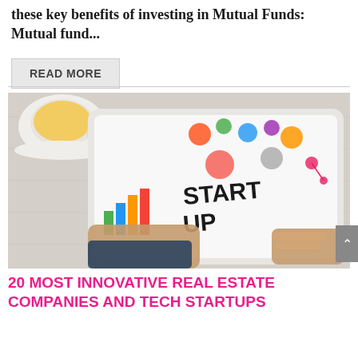these key benefits of investing in Mutual Funds: Mutual fund…
READ MORE
[Figure (photo): Person holding a tablet displaying a START UP infographic with icons for cloud, gears, charts, and business growth. A cup of tea visible in the background on a white wooden surface.]
20 MOST INNOVATIVE REAL ESTATE COMPANIES AND TECH STARTUPS